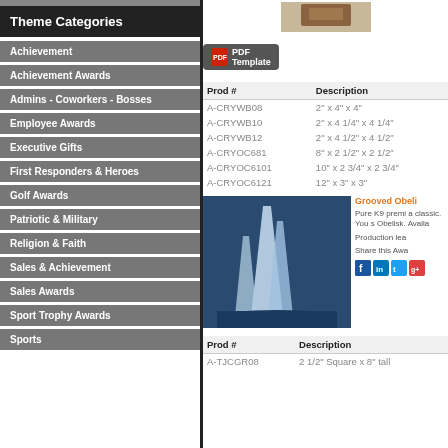Theme Categories
Achievement
Achievement Awards
Admins - Coworkers - Bosses
Employee Awards
Executive Gifts
First Responders & Heroes
Golf Awards
Patriotic & Military
Religion & Faith
Sales & Achievement
Sales Awards
Sport Trophy Awards
Sports
[Figure (photo): Product photo top]
[Figure (other): PDF Template button]
| Prod # | Description |
| --- | --- |
| A-CRYWB08 | 2" x 4" x 4" |
| A-CRYWB10 | 2" x 4 1/4" x 4 1/4" |
| A-CRYWB12 | 2" x 4 1/2" x 4 1/2" |
| A-CRYOC681 | 8" x 2 1/2" x 2 1/2" |
| A-CRYOC6101 | 10" x 2 3/4" x 2 3/4" |
| A-CRYOC6121 | 12" x 3" x 3" |
[Figure (photo): Grooved Obelisk crystal awards photo]
Grooved Obelisk
Pure K9 premi a classic. You s Obelisk. Availa
Production lea
Share this Awa
| Prod # | Description |
| --- | --- |
| A-TJCGR08 | 2 1/2" Square x 8" tall |